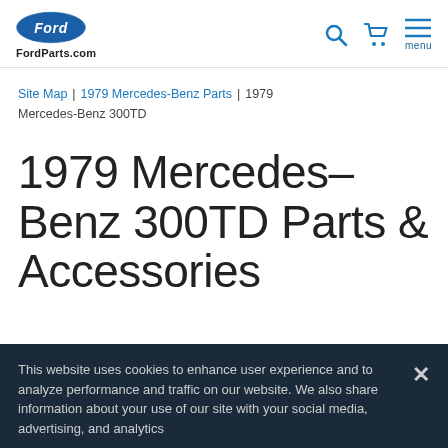FordParts.com — Ford logo header with search, cart, and menu icons
Site Map | 1979 Mercedes-Benz Parts | 1979 Mercedes-Benz 300TD
1979 Mercedes-Benz 300TD Parts & Accessories
This website uses cookies to enhance user experience and to analyze performance and traffic on our website. We also share information about your use of our site with your social media, advertising, and analytics